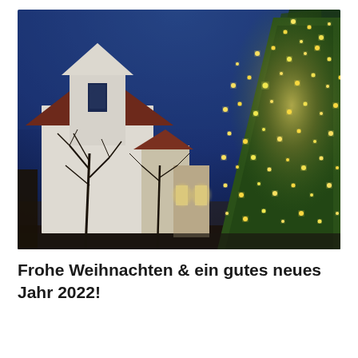[Figure (photo): Night/dusk photo of a white German church with a dark red roof and gothic window, illuminated Christmas tree with warm yellow lights on the right side, bare winter trees in the foreground, deep blue twilight sky in the background.]
Frohe Weihnachten & ein gutes neues Jahr 2022!